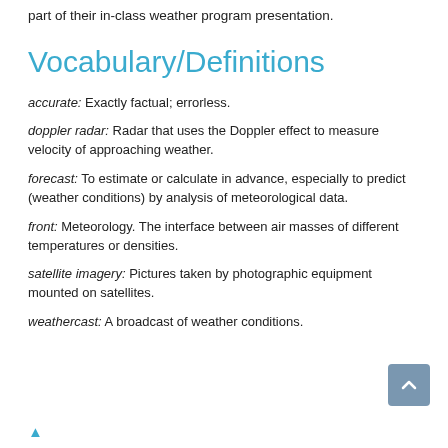part of their in-class weather program presentation.
Vocabulary/Definitions
accurate:  Exactly factual; errorless.
doppler radar:  Radar that uses the Doppler effect to measure velocity of approaching weather.
forecast:  To estimate or calculate in advance, especially to predict (weather conditions) by analysis of meteorological data.
front:  Meteorology. The interface between air masses of different temperatures or densities.
satellite imagery:  Pictures taken by photographic equipment mounted on satellites.
weathercast:  A broadcast of weather conditions.